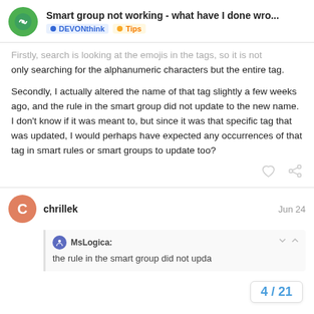Smart group not working - what have I done wro... | DEVONthink | Tips
Firstly, search is looking at the emojis in the tags, so it is not only searching for the alphanumeric characters but the entire tag.
Secondly, I actually altered the name of that tag slightly a few weeks ago, and the rule in the smart group did not update to the new name. I don't know if it was meant to, but since it was that specific tag that was updated, I would perhaps have expected any occurrences of that tag in smart rules or smart groups to update too?
chrillek  Jun 24
MsLogica:
the rule in the smart group did not upda